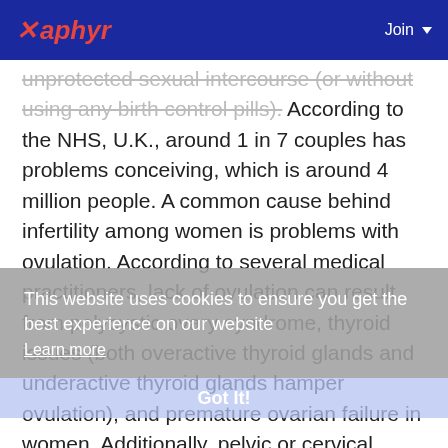Xaphyr  Join
unprotected sexual intercourse (or without using any birth control pills). According to the NHS, U.K., around 1 in 7 couples has problems conceiving, which is around 4 million people. A common cause behind infertility among women is problems with ovulation. According to several medical practitioners, lack of ovulation can result from polycystic ovary syndrome, thyroid issues (both overactive thyroid glands and underactive thyroid glands hamper ovulation), and premature ovarian failure in women. Additionally, pelvic or cervical surgery, thinner cervical mucus, fibroids (non-cancerous growth around wombs), and endometriosis can be reasons for infertility among women. Furthermore, overuse of non-steroidal anti-inflammatory drugs, chemotherapy, neuroleptic medicines, spironolactone, and illegal drugs such as
This website uses cookies to ensure you get the best experience on our website
Learn More
Got It!